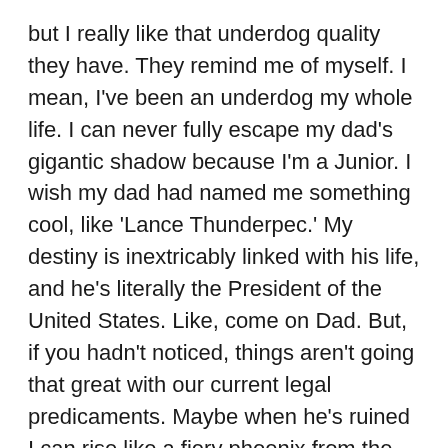but I really like that underdog quality they have. They remind me of myself. I mean, I've been an underdog my whole life. I can never fully escape my dad's gigantic shadow because I'm a Junior. I wish my dad had named me something cool, like 'Lance Thunderpec.' My destiny is inextricably linked with his life, and he's literally the President of the United States. Like, come on Dad. But, if you hadn't noticed, things aren't going that great with our current legal predicaments. Maybe when he's ruined I can rise like a fiery phoenix from the ashes. I could so do it, too. Like when I get out of jail after all the treason stuff."
Donald Jr. then compared his life to Nicklelback's musical career.
“Like Nickelback,” he said, “I’ve actually accomplished a lot despite being bullied because of my money and my